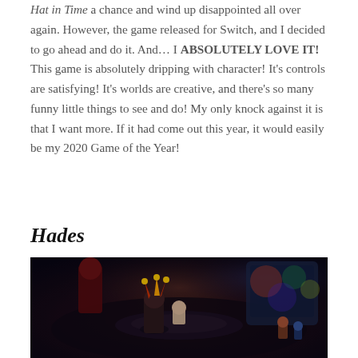Hat in Time a chance and wind up disappointed all over again. However, the game released for Switch, and I decided to go ahead and do it. And… I ABSOLUTELY LOVE IT! This game is absolutely dripping with character! It's controls are satisfying! It's worlds are creative, and there's so many funny little things to see and do! My only knock against it is that I want more. If it had come out this year, it would easily be my 2020 Game of the Year!
Hades
[Figure (photo): Screenshot from the video game Hades showing a character wearing a jester hat in a dark, colorful underworld environment with various game characters and decorative elements visible in the background.]